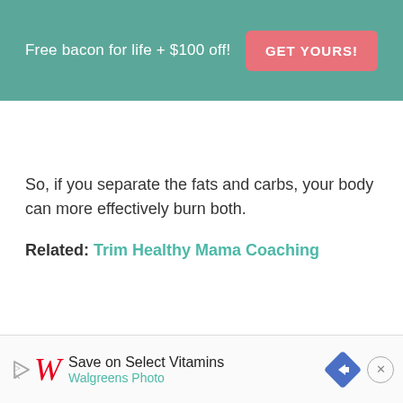[Figure (infographic): Teal/green promotional banner with white text 'Free bacon for life + $100 off!' and a pink-red 'GET YOURS!' button on the right.]
So, if you separate the fats and carbs, your body can more effectively burn both.
Related: Trim Healthy Mama Coaching
[Figure (infographic): Walgreens advertisement banner at the bottom. Shows Walgreens cursive logo in red, text 'Save on Select Vitamins' and 'Walgreens Photo', a blue diamond navigation arrow icon, and a close (X) circle button.]